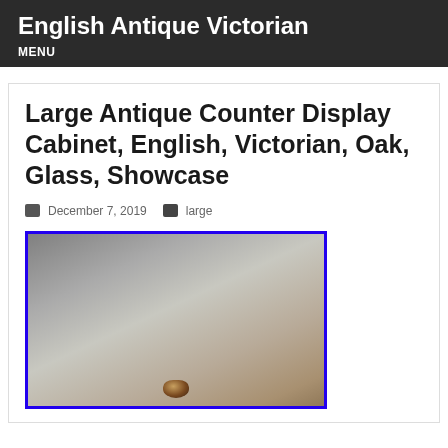English Antique Victorian
MENU
Large Antique Counter Display Cabinet, English, Victorian, Oak, Glass, Showcase
December 7, 2019  large
[Figure (photo): Photograph of a large antique Victorian oak glass showcase counter display cabinet, shown with a blue border frame around the image.]